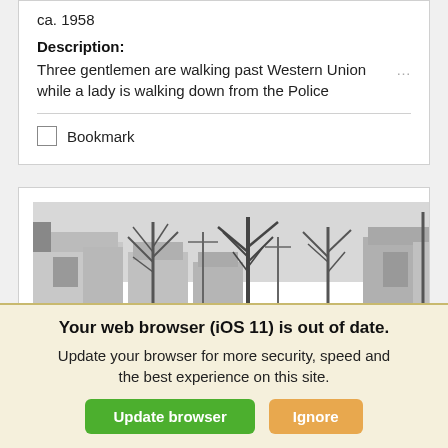ca. 1958
Description: Three gentlemen are walking past Western Union while a lady is walking down from the Police ...
Bookmark
[Figure (photo): Black-and-white historical street scene showing residential buildings with bare trees lining both sides of a street, circa late 1950s.]
Your web browser (iOS 11) is out of date. Update your browser for more security, speed and the best experience on this site.
Update browser | Ignore